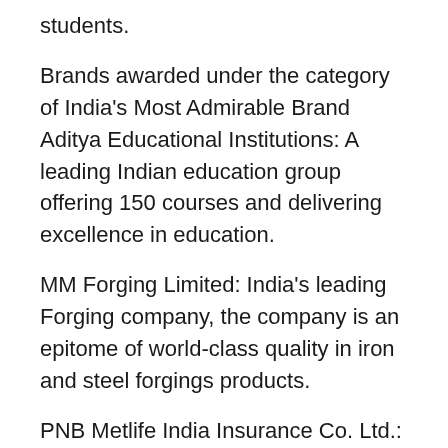students.
Brands awarded under the category of India's Most Admirable Brand Aditya Educational Institutions: A leading Indian education group offering 150 courses and delivering excellence in education.
MM Forging Limited: India's leading Forging company, the company is an epitome of world-class quality in iron and steel forgings products.
PNB Metlife India Insurance Co. Ltd.: PNB Metlife is India's leading Insurance service provider.